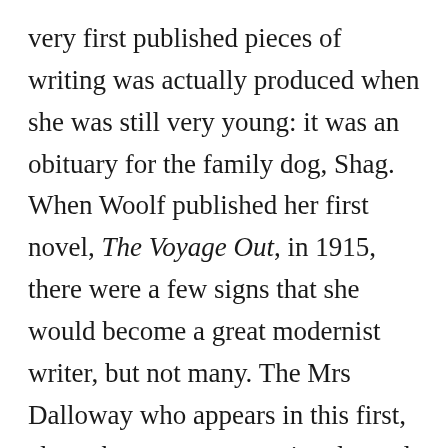very first published pieces of writing was actually produced when she was still very young: it was an obituary for the family dog, Shag. When Woolf published her first novel, The Voyage Out, in 1915, there were a few signs that she would become a great modernist writer, but not many. The Mrs Dalloway who appears in this first, altogether more conventional novel is markedly different from her reincarnation, in the novel Mrs Dalloway, ten years later. In the ten years that intervened, Woolf had forged a new path for herself, and published two further novels. But it was in short fiction that she first perfected the modernist style that would